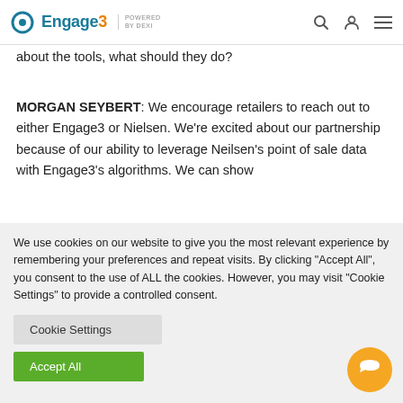Engage3 POWERED BY DEXI
about the tools, what should they do?
MORGAN SEYBERT: We encourage retailers to reach out to either Engage3 or Nielsen. We're excited about our partnership because of our ability to leverage Neilsen's point of sale data with Engage3's algorithms. We can show
We use cookies on our website to give you the most relevant experience by remembering your preferences and repeat visits. By clicking "Accept All", you consent to the use of ALL the cookies. However, you may visit "Cookie Settings" to provide a controlled consent.